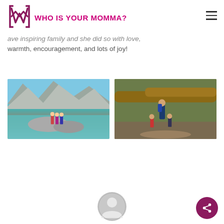WHO IS YOUR MOMMA?
ave inspiring family and she did so with love, warmth, encouragement, and lots of joy!
[Figure (photo): Two people standing on rocks beside a turquoise mountain lake with rocky peaks in the background]
[Figure (photo): Adult with backpack and two small children on a forest trail with logs in the background]
[Figure (illustration): Gray circular avatar/user profile icon]